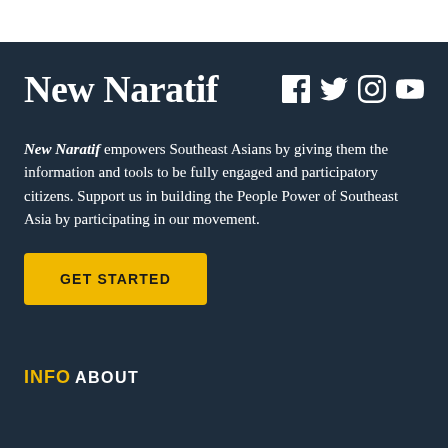New Naratif
[Figure (infographic): Social media icons: Facebook, Twitter, Instagram, YouTube — white on dark background]
New Naratif empowers Southeast Asians by giving them the information and tools to be fully engaged and participatory citizens. Support us in building the People Power of Southeast Asia by participating in our movement.
GET STARTED
INFO
ABOUT